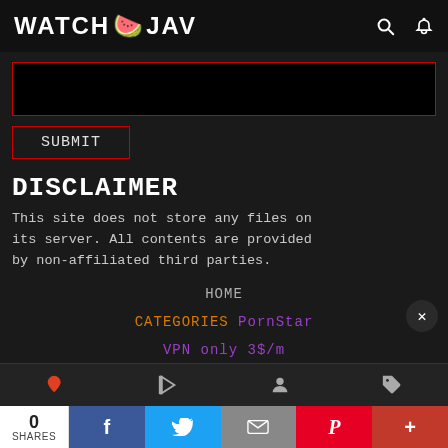WATCH JAV
[Figure (screenshot): Black input/search box with red border]
SUBMIT
DISCLAIMER
This site does not store any files on its server. All contents are provided by non-affiliated third parties.
HOME
CATEGORIES PornStar
VPN only 3$/m
CENSORED
UNCENSORED
0 SHARES | Facebook | Twitter | Email | Pinterest | More